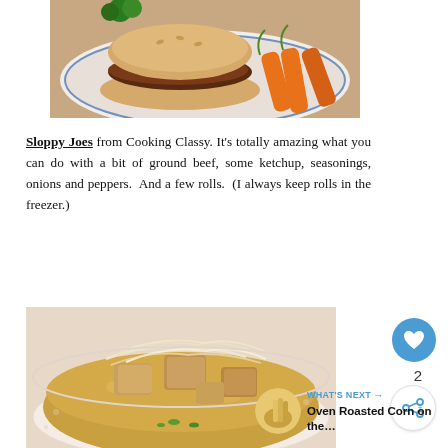[Figure (photo): A sloppy joe sandwich on a plate with carrots]
Sloppy Joes from Cooking Classy. It's totally amazing what you can do with a bit of ground beef, some ketchup, seasonings, onions and peppers. And a few rolls. (I always keep rolls in the freezer.)
[Figure (photo): A bowl of soup with croutons, shredded cheese, and green onions]